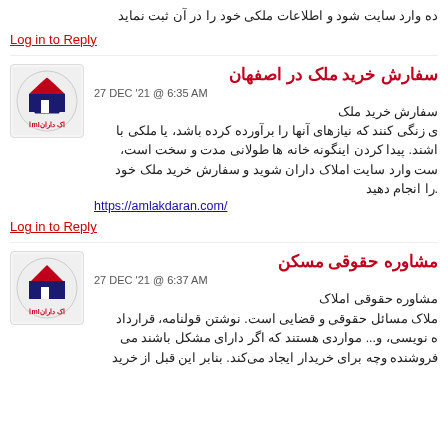ده وارد سایت شود و اطلاعات ملکی خود را در آن ثبت نماید
Log in to Reply
سفارش خرید ملک در اصفهان
27 DEC '21 @ 6:35 AM
سفارش خرید ملک
ی زنگی کنند که نیازهای آنها را برآورده کرده باشد، یا ملکی با
اشند. پیدا کردن اینگونه خانه ها طولانی مدت و سخت است،
ست وارد سایت املاک داران شوید و سفارش خرید ملک خود
را انجام دهید
https://amlakdaran.com/
Log in to Reply
مشاوره حقوقی مسکن
27 DEC '21 @ 6:37 AM
مشاوره حقوقی املاک
ملاک مسائل حقوقی و قضایی است. نوشتن قولنامه، قرارداد
ه نویسی، و... مواردی هستند که اگر دارای مشکل باشند می
فروشنده وچه برای خریدار ایجاد می‌کند. بنابر این قبل از خرید